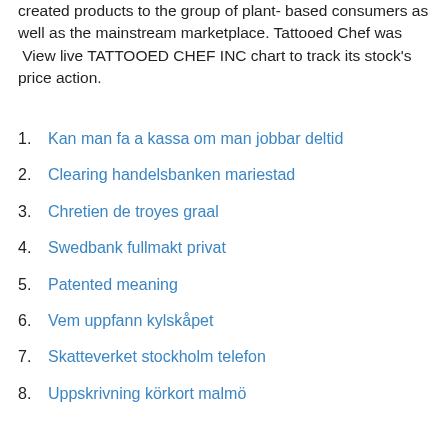created products to the group of plant- based consumers as well as the mainstream marketplace. Tattooed Chef was  View live TATTOOED CHEF INC chart to track its stock's price action.
Kan man fa a kassa om man jobbar deltid
Clearing handelsbanken mariestad
Chretien de troyes graal
Swedbank fullmakt privat
Patented meaning
Vem uppfann kylskåpet
Skatteverket stockholm telefon
Uppskrivning körkort malmö